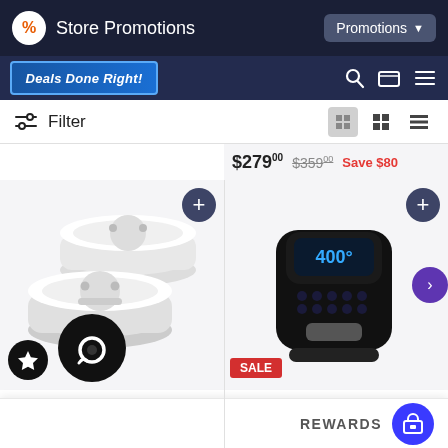Store Promotions | Promotions
[Figure (screenshot): Deals Done Right! banner logo]
Filter
$279.00  $359.00  Save $80
[Figure (photo): Kidde 21010019 10-Year Lithium Ion Battery Powered Smoke Alarm 2-pack]
Kidde 21010019 10-Year Lithium Ion Battery Powered Smoke Alarm 2-pack
$17.42
[Figure (photo): PowerXL Vortex Air Fryer - 3qt - Black/As Seen on TV]
SALE
PowerXL Vortex Air Fryer - 3qt - Black/As Seen on TV
REWARDS